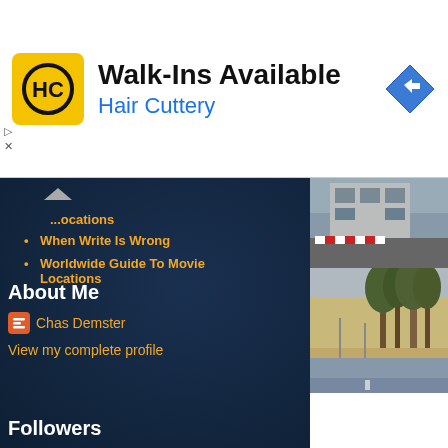[Figure (screenshot): Hair Cuttery advertisement banner with yellow logo, 'Walk-Ins Available' headline, 'Hair Cuttery' subtext in blue, and a blue navigation arrow icon on the right.]
locations
When Write Is Wrong
Worldwide Guide To Movie Locations
About Me
Chas Demster
View my complete profile
Followers
[Figure (photo): Outdoor photo showing a building with concrete facade and red/white barriers in the foreground on asphalt pavement.]
[Figure (photo): Road scene with tall eucalyptus trees lining the road, yellow-brown dry grass, and street lights.]
[Figure (photo): Road or runway photo, partially visible at bottom right.]